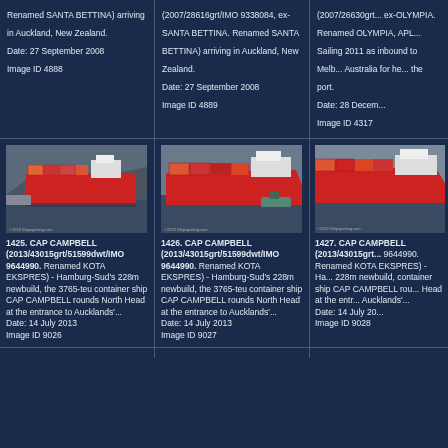Renamed SANTA BETTINA) arriving in Auckland, New Zealand. Date: 27 September 2008 Image ID 4888
(2007/28616grt/IMO 9338084, ex-SANTA BETTINA. Renamed SANTA BETTINA) arriving in Auckland, New Zealand. Date: 27 September 2008 Image ID 4889
(2007/26630grt... ex-OLYMPIA. Renamed OLYMPIA, APL... Sailing 2011 as inbound to Melbourne, Australia for her the port. Date: 28 December... Image ID 4317
[Figure (photo): Red container ship CAP CAMPBELL rounding North Head at Auckland entrance]
[Figure (photo): Red container ship CAP CAMPBELL rounding North Head at Auckland entrance, second view]
[Figure (photo): Red container ship CAP CAMPBELL rounding North Head at Auckland entrance, third view (partially cropped)]
1425. CAP CAMPBELL (2013/43015grt/51599dwt/IMO 9644990. Renamed KOTA EKSPRES) - Hamburg-Sud's 228m newbuild, the 3765-teu container ship CAP CAMPBELL rounds North Head at the entrance to Aucklands'... Date: 14 July 2013 Image ID 9026
1426. CAP CAMPBELL (2013/43015grt/51599dwt/IMO 9644990. Renamed KOTA EKSPRES) - Hamburg-Sud's 228m newbuild, the 3765-teu container ship CAP CAMPBELL rounds North Head at the entrance to Aucklands'... Date: 14 July 2013 Image ID 9027
1427. CAP CAMPBELL (2013/43015grt... 9644990. Renamed KOTA EKSPRES) - Hamburg-Sud's 228m newbuild, container ship CAP CAMPBELL rounds North Head at the entrance to Aucklands'... Date: 14 July 2013 Image ID 9028